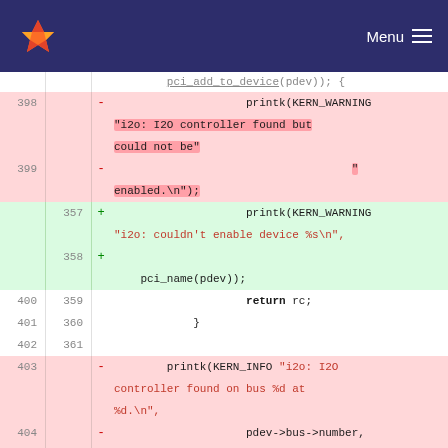GitLab navigation bar with logo and Menu
[Figure (screenshot): Code diff view showing removed lines (398-405) with red background and added lines (357-358) with green background, plus neutral lines (400-402, 406). The diff shows changes to printk calls in a Linux kernel C source file, replacing a two-part string 'i2o: I2O controller found but could not be enabled' with 'i2o: couldn't enable device %s\n' and pci_name(pdev), and removing a printk(KERN_INFO) block about the I2O controller found on bus.]